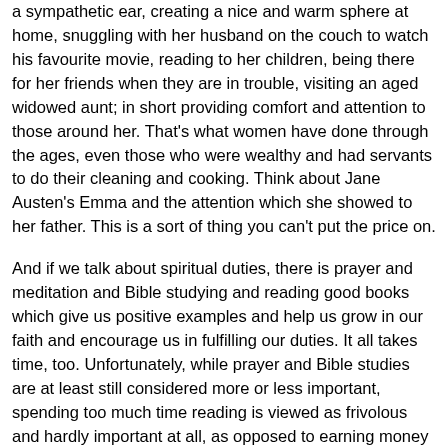a sympathetic ear, creating a nice and warm sphere at home, snuggling with her husband on the couch to watch his favourite movie, reading to her children, being there for her friends when they are in trouble, visiting an aged widowed aunt; in short providing comfort and attention to those around her. That's what women have done through the ages, even those who were wealthy and had servants to do their cleaning and cooking. Think about Jane Austen's Emma and the attention which she showed to her father. This is a sort of thing you can't put the price on.
And if we talk about spiritual duties, there is prayer and meditation and Bible studying and reading good books which give us positive examples and help us grow in our faith and encourage us in fulfilling our duties. It all takes time, too. Unfortunately, while prayer and Bible studies are at least still considered more or less important, spending too much time reading is viewed as frivolous and hardly important at all, as opposed to earning money and scrubbing the floors. I agree with the above-mentioned commenter (Housewife from Finland) that it's a pity!